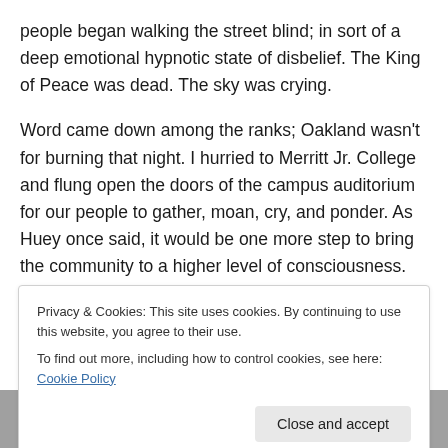people began walking the street blind; in sort of a deep emotional hypnotic state of disbelief. The King of Peace was dead. The sky was crying.
Word came down among the ranks; Oakland wasn't for burning that night. I hurried to Merritt Jr. College and flung open the doors of the campus auditorium for our people to gather, moan, cry, and ponder. As Huey once said, it would be one more step to bring the community to a higher level of consciousness. [2]
THE PRROR & MARLON BRANDO AND THE
Privacy & Cookies: This site uses cookies. By continuing to use this website, you agree to their use.
To find out more, including how to control cookies, see here: Cookie Policy
[Figure (photo): Partial black and white photograph visible at bottom of page]